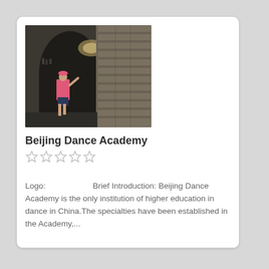[Figure (photo): Person standing in a stone tunnel/archway corridor, touching the wall, wearing a pink shirt and shorts with a pink hat. Historic architecture with arched passageway.]
Beijing Dance Academy
☆☆☆☆☆
Logo:                    Brief Introduction: Beijing Dance Academy is the only institution of higher education in dance in China.The specialties have been established in the Academy,...